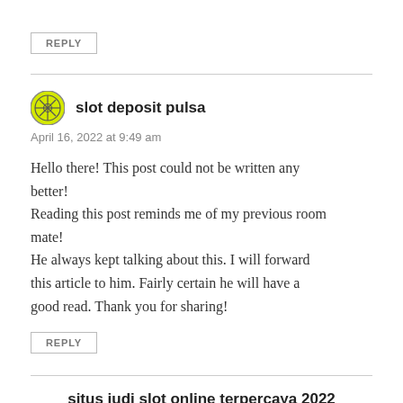REPLY
slot deposit pulsa
April 16, 2022 at 9:49 am
Hello there! This post could not be written any better!
Reading this post reminds me of my previous room mate!
He always kept talking about this. I will forward this article to him. Fairly certain he will have a good read. Thank you for sharing!
REPLY
situs judi slot online terpercaya 2022